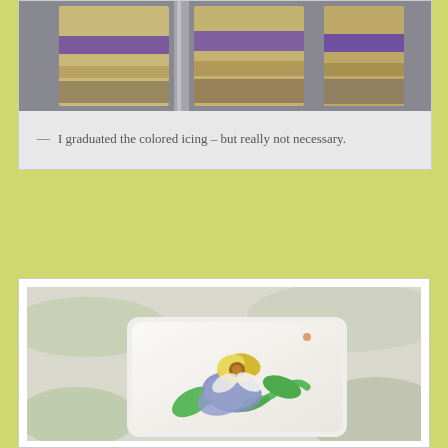[Figure (photo): Close-up photo of sliced layered cake with purple and yellow colored icing layers visible on a gray background]
— I graduated the colored icing – but really not necessary.
[Figure (photo): Close-up macro photo of a white fondant-covered petit four or small cake square decorated with a yellow and blue pansy flower and green icing vines, with blurred floral background]